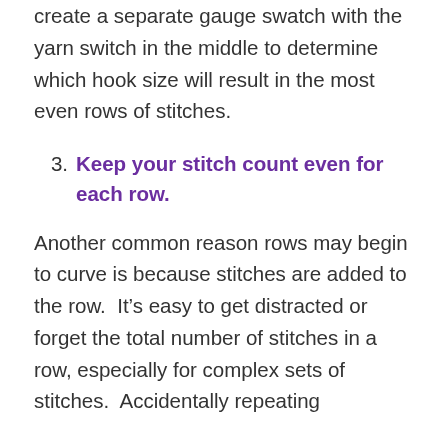create a separate gauge swatch with the yarn switch in the middle to determine which hook size will result in the most even rows of stitches.
3. Keep your stitch count even for each row.
Another common reason rows may begin to curve is because stitches are added to the row. It’s easy to get distracted or forget the total number of stitches in a row, especially for complex sets of stitches. Accidentally repeating